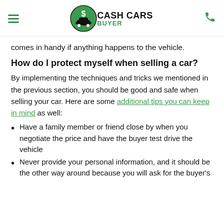Cash Cars Buyer
comes in handy if anything happens to the vehicle.
How do I protect myself when selling a car?
By implementing the techniques and tricks we mentioned in the previous section, you should be good and safe when selling your car. Here are some additional tips you can keep in mind as well:
Have a family member or friend close by when you negotiate the price and have the buyer test drive the vehicle
Never provide your personal information, and it should be the other way around because you will ask for the buyer's